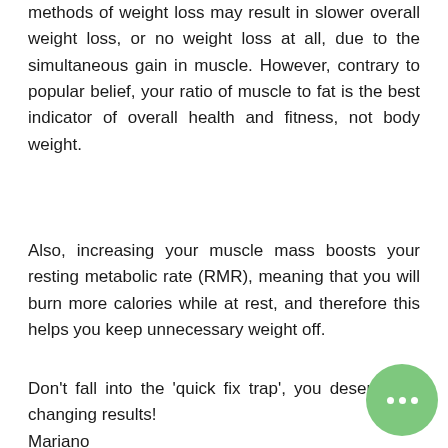methods of weight loss may result in slower overall weight loss, or no weight loss at all, due to the simultaneous gain in muscle. However, contrary to popular belief, your ratio of muscle to fat is the best indicator of overall health and fitness, not body weight.
Also, increasing your muscle mass boosts your resting metabolic rate (RMR), meaning that you will burn more calories while at rest, and therefore this helps you keep unnecessary weight off.
Don't fall into the 'quick fix trap', you deserve life changing results! Mariano